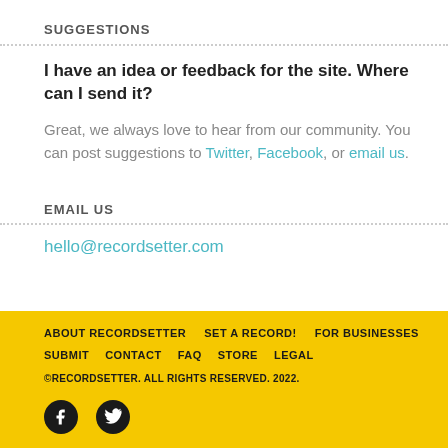SUGGESTIONS
I have an idea or feedback for the site. Where can I send it?
Great, we always love to hear from our community. You can post suggestions to Twitter, Facebook, or email us.
EMAIL US
hello@recordsetter.com
ABOUT RECORDSETTER   SET A RECORD!   FOR BUSINESSES   SUBMIT   CONTACT   FAQ   STORE   LEGAL   ©RECORDSETTER. ALL RIGHTS RESERVED. 2022.